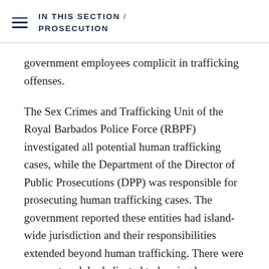IN THIS SECTION / PROSECUTION
government employees complicit in trafficking offenses.
The Sex Crimes and Trafficking Unit of the Royal Barbados Police Force (RBPF) investigated all potential human trafficking cases, while the Department of the Director of Public Prosecutions (DPP) was responsible for prosecuting human trafficking cases. The government reported these entities had island-wide jurisdiction and their responsibilities extended beyond human trafficking. There were no courts solely dedicated to hearing human trafficking cases; all cases could be heard in one of the five criminal courts. Law enforcement contacts reported that serious criminal cases, including trafficking, were assigned to